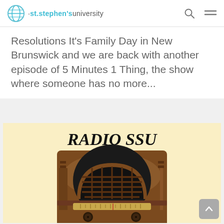st.stephen's university — navigation bar with logo, search, and menu icons
Resolutions It's Family Day in New Brunswick and we are back with another episode of 5 Minutes 1 Thing, the show where someone has no more...
[Figure (illustration): Radio SSU illustration showing a vintage brown wooden radio on a light yellow background with the text RADIO SSU in large bold black serif font at the top]